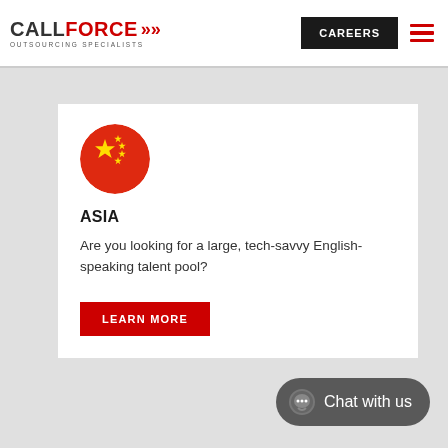CALLFORCE OUTSOURCING SPECIALISTS — CAREERS
[Figure (logo): CallForce Outsourcing Specialists logo with red chevron arrows]
ASIA
Are you looking for a large, tech-savvy English-speaking talent pool?
LEARN MORE
Chat with us